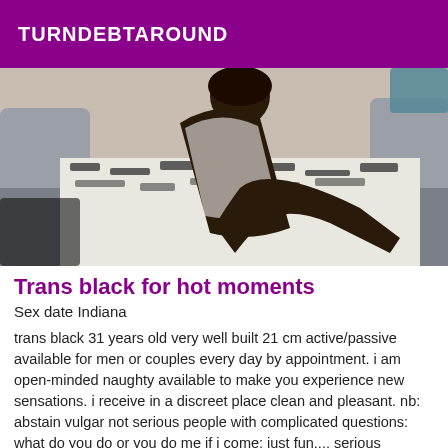TURNDEBTAROUND
[Figure (photo): A person posing on a zebra-print couch/bed wearing a white outfit]
Trans black for hot moments
Sex date Indiana
trans black 31 years old very well built 21 cm active/passive available for men or couples every day by appointment. i am open-minded naughty available to make you experience new sensations. i receive in a discreet place clean and pleasant. nb: abstain vulgar not serious people with complicated questions: what do you do or you do me if i come: just fun.... serious